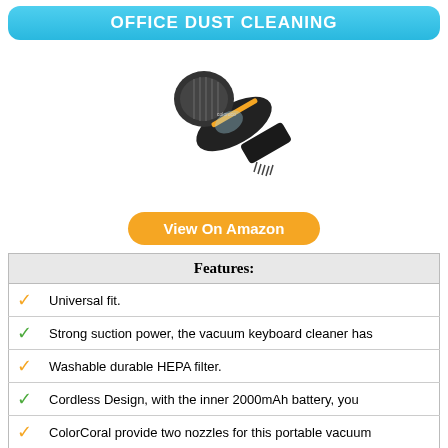OFFICE DUST CLEANING
[Figure (photo): Handheld portable vacuum cleaner / keyboard duster device shown at an angle, dark colored body with orange accent stripe, brush nozzle attachment]
View On Amazon
| Features: |
| --- |
| ✓ | Universal fit. |
| ✓ | Strong suction power, the vacuum keyboard cleaner has |
| ✓ | Washable durable HEPA filter. |
| ✓ | Cordless Design, with the inner 2000mAh battery, you |
| ✓ | ColorCoral provide two nozzles for this portable vacuum |